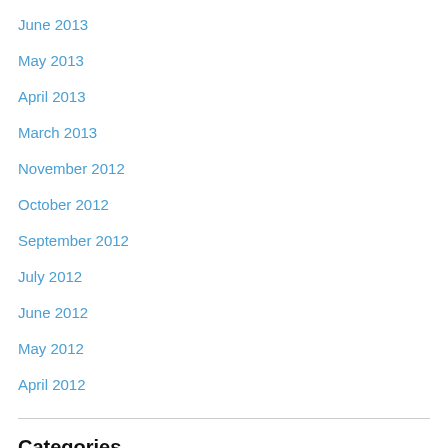June 2013
May 2013
April 2013
March 2013
November 2012
October 2012
September 2012
July 2012
June 2012
May 2012
April 2012
Categories
copyright
IP
magic
Right of Publicity
trademarks